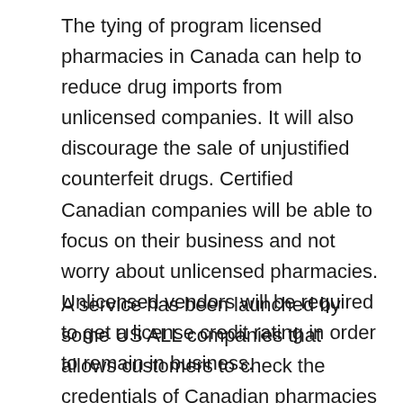The tying of program licensed pharmacies in Canada can help to reduce drug imports from unlicensed companies. It will also discourage the sale of unjustified counterfeit drugs. Certified Canadian companies will be able to focus on their business and not worry about unlicensed pharmacies. Unlicensed vendors will be required to get a license credit rating in order to remain in business.
A service has been launched by some US ALL companies that allows customers to check the credentials of Canadian pharmacies before they